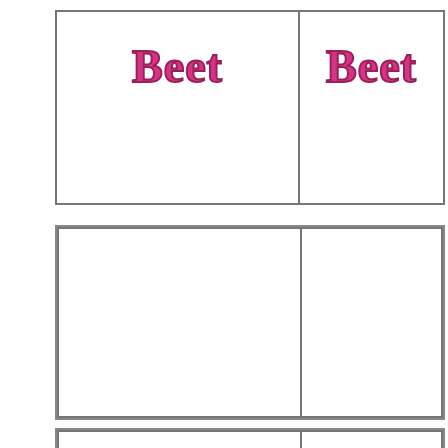Beet
Beet
[Figure (other): Empty picture box for flashcard (left)]
[Figure (other): Empty picture box for flashcard (right)]
[Figure (other): Partial row of empty flashcard boxes at bottom]